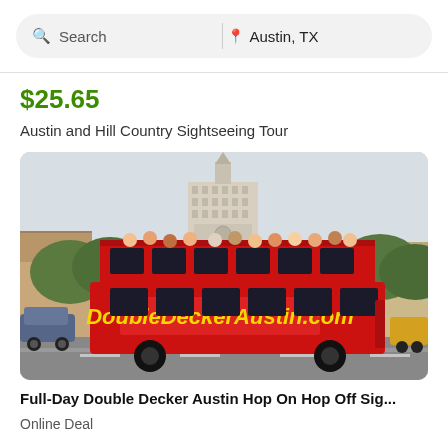Search | Austin, TX
$25.65
Austin and Hill Country Sightseeing Tour
[Figure (photo): Red double-decker open-top tour bus with 'DoubleDeckerAustin.com' written in yellow text on its side, passengers on the upper deck, UT Tower visible in background, trees and buildings on sides.]
Full-Day Double Decker Austin Hop On Hop Off Sig...
Online Deal